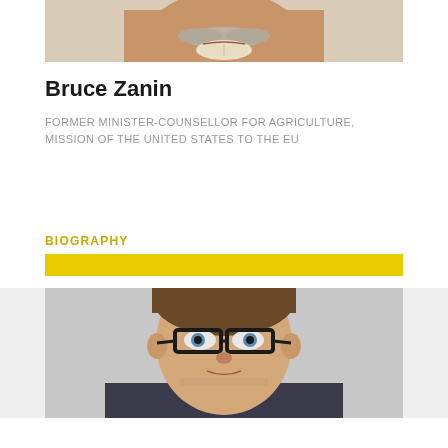[Figure (photo): Cropped headshot of Bruce Zanin showing lower face with white mustache, smiling]
Bruce Zanin
FORMER MINISTER-COUNSELLOR FOR AGRICULTURE, MISSION OF THE UNITED STATES TO THE EU
BIOGRAPHY
[Figure (photo): Headshot of a man with brown hair and dark-rimmed glasses, gray background]